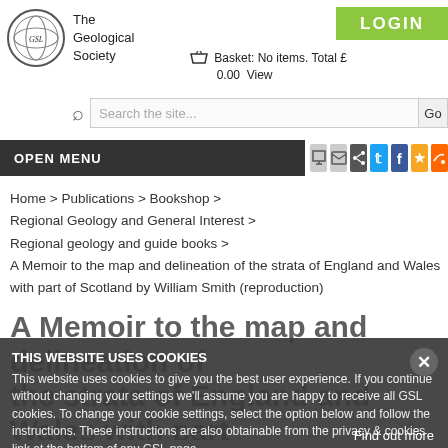[Figure (logo): The Geological Society circular logo with text 'The Geological Society']
LOGIN
Basket: No items. Total £0.00  View
Search the site...  Go
OPEN MENU
Home > Publications > Bookshop > Regional Geology and General Interest > Regional geology and guide books > A Memoir to the map and delineation of the strata of England and Wales with part of Scotland by William Smith (reproduction)
A Memoir to the map and delineation of the strata of England and Wales with part
THIS WEBSITE USES COOKIES
This website uses cookies to give you the best user experience. If you continue without changing your settings we'll assume you are happy to receive all GSL cookies. To change your cookie settings, select the option below and follow the instructions. These instructions are also obtainable from the privacy & cookies link at the bottom of any GSL page.
Find out more